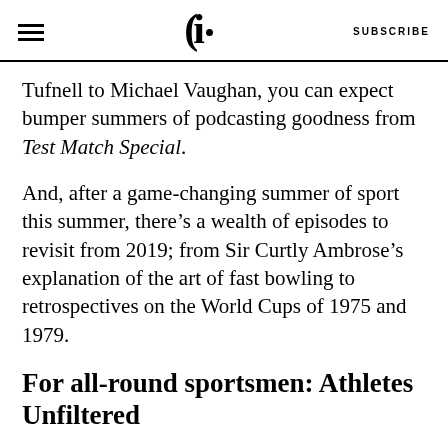SUBSCRIBE
Tufnell to Michael Vaughan, you can expect bumper summers of podcasting goodness from Test Match Special.
And, after a game-changing summer of sport this summer, there’s a wealth of episodes to revisit from 2019; from Sir Curtly Ambrose’s explanation of the art of fast bowling to retrospectives on the World Cups of 1975 and 1979.
For all-round sportsmen: Athletes Unfiltered